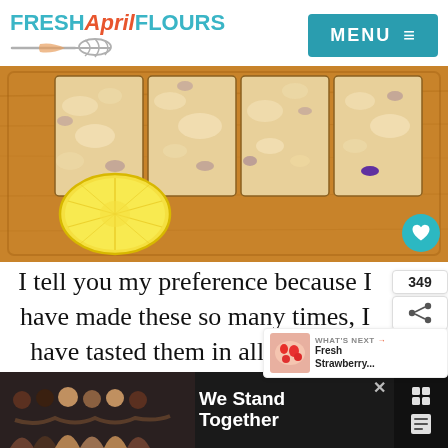FRESH April FLOURS | MENU
[Figure (photo): Overhead view of blueberry lemon crumble bars cut into squares on a wooden cutting board, with a halved lemon in the foreground.]
I tell you my preference because I have made these so many times, I have tasted them in all different stages of
[Figure (infographic): WHAT'S NEXT arrow with thumbnail of Fresh Strawberry... recipe and share/heart buttons with count 349]
[Figure (photo): Advertisement banner: group of people with arms around each other, text reads 'We Stand Together']